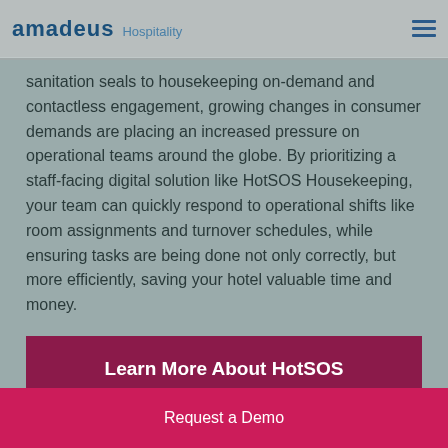amadeus Hospitality
sanitation seals to housekeeping on-demand and contactless engagement, growing changes in consumer demands are placing an increased pressure on operational teams around the globe. By prioritizing a staff-facing digital solution like HotSOS Housekeeping, your team can quickly respond to operational shifts like room assignments and turnover schedules, while ensuring tasks are being done not only correctly, but more efficiently, saving your hotel valuable time and money.
Learn More About HotSOS Housekeeping
Request a Demo